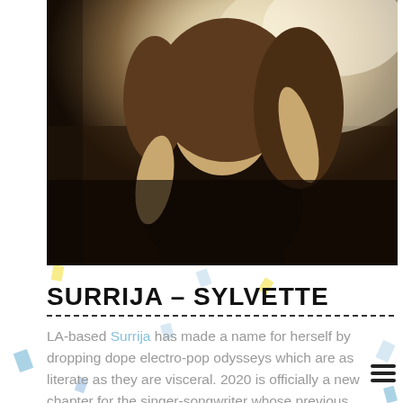[Figure (photo): Photo of a young woman with long brown hair wearing a dark tank top, posed against a bright/blurred background. LA-based artist Surrija promotional photo.]
SURRIJA - SYLVETTE
LA-based Surrija has made a name for herself by dropping dope electro-pop odysseys which are as literate as they are visceral. 2020 is officially a new chapter for the singer-songwriter whose previous